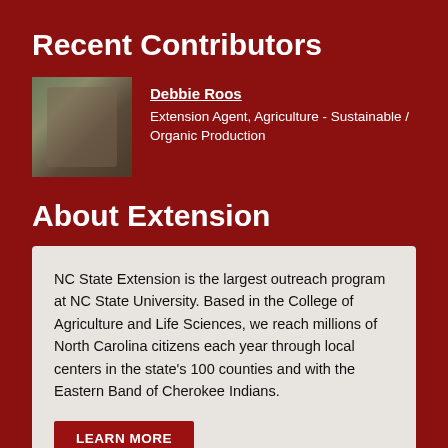Recent Contributors
[Figure (photo): Photo of Debbie Roos, a woman holding a small animal outdoors]
Debbie Roos
Extension Agent, Agriculture - Sustainable / Organic Production
About Extension
NC State Extension is the largest outreach program at NC State University. Based in the College of Agriculture and Life Sciences, we reach millions of North Carolina citizens each year through local centers in the state's 100 counties and with the Eastern Band of Cherokee Indians.
LEARN MORE